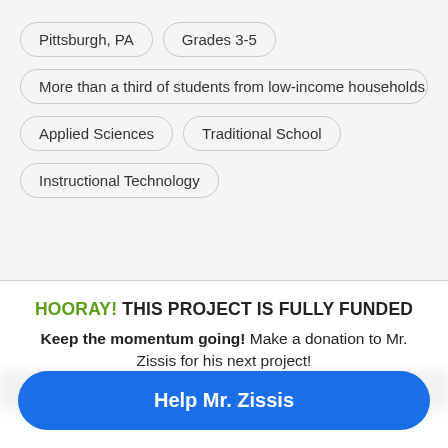Pittsburgh, PA
Grades 3-5
More than a third of students from low-income households
Applied Sciences
Traditional School
Instructional Technology
HOORAY! THIS PROJECT IS FULLY FUNDED
Keep the momentum going! Make a donation to Mr. Zissis for his next project!
Help Mr. Zissis